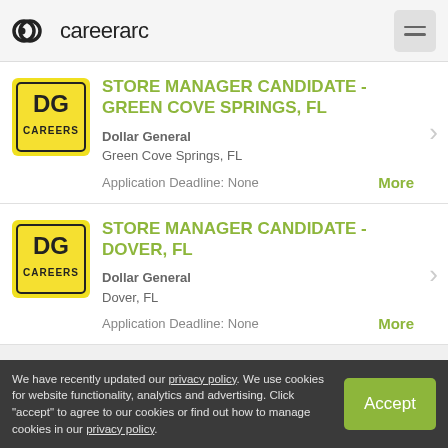careerarc
STORE MANAGER CANDIDATE - GREEN COVE SPRINGS, FL
Dollar General
Green Cove Springs, FL
Application Deadline: None
STORE MANAGER CANDIDATE - DOVER, FL
Dollar General
Dover, FL
Application Deadline: None
We have recently updated our privacy policy. We use cookies for website functionality, analytics and advertising. Click "accept" to agree to our cookies or find out how to manage cookies in our privacy policy.